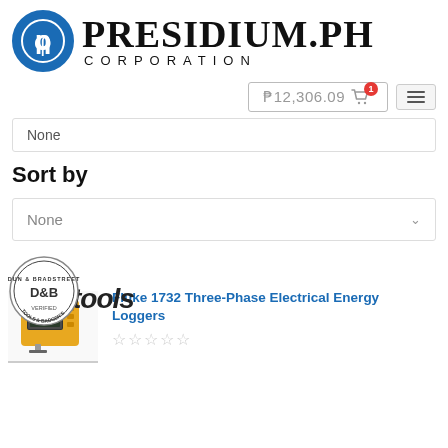[Figure (logo): Presidium.PH Corporation logo with blue circular emblem on the left and bold serif text 'PRESIDIUM.PH' with 'CORPORATION' in spaced caps below]
₱12,306.09 🛒 (1 item in cart)
None
Sort by
None
[Figure (logo): Dun & Bradstreet circular badge/seal]
Fluke 1732 Three-Phase Electrical Energy Loggers
[Figure (other): Five empty star rating icons]
[Figure (photo): Fluke 1732 product thumbnail photo showing the device]